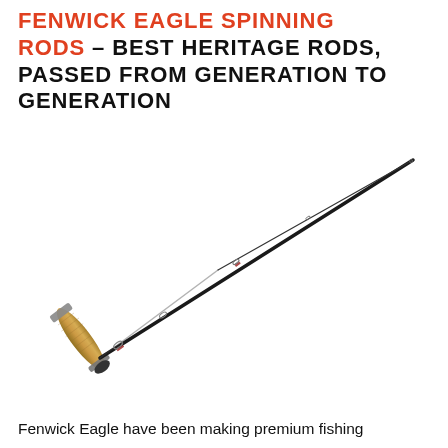FENWICK EAGLE SPINNING RODS – BEST HERITAGE RODS, PASSED FROM GENERATION TO GENERATION
[Figure (photo): A Fenwick Eagle fishing rod shown diagonally, with a cork/wood handle at the bottom-left and a thin rod tip extending to the upper-right. The rod has guide rings visible along its length.]
Fenwick Eagle have been making premium fishing